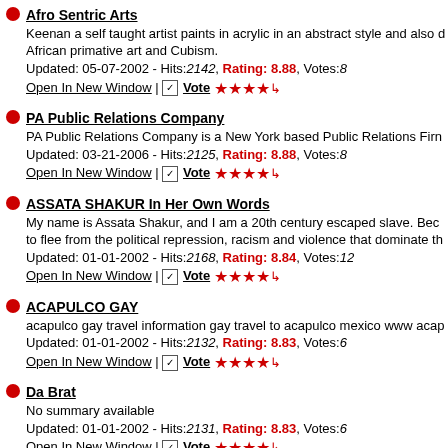Afro Sentric Arts
Keenan a self taught artist paints in acrylic in an abstract style and also draws on African primative art and Cubism.
Updated: 05-07-2002 - Hits:2142, Rating: 8.88, Votes:8
Open In New Window | Vote ★★★★☆
PA Public Relations Company
PA Public Relations Company is a New York based Public Relations Firm
Updated: 03-21-2006 - Hits:2125, Rating: 8.88, Votes:8
Open In New Window | Vote ★★★★☆
ASSATA SHAKUR In Her Own Words
My name is Assata Shakur, and I am a 20th century escaped slave. Because of my desire to flee from the political repression, racism and violence that dominate th...
Updated: 01-01-2002 - Hits:2168, Rating: 8.84, Votes:12
Open In New Window | Vote ★★★★☆
ACAPULCO GAY
acapulco gay travel information gay travel to acapulco mexico www acap...
Updated: 01-01-2002 - Hits:2132, Rating: 8.83, Votes:6
Open In New Window | Vote ★★★★☆
Da Brat
No summary available
Updated: 01-01-2002 - Hits:2131, Rating: 8.83, Votes:6
Open In New Window | Vote ★★★★☆